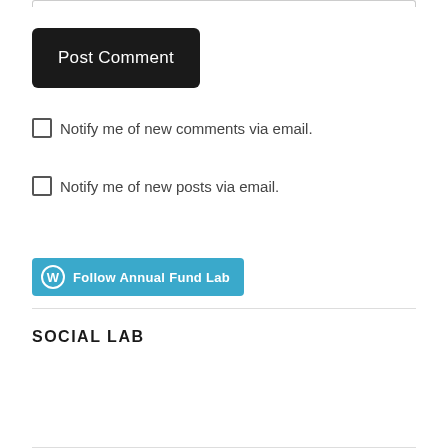[Figure (screenshot): Post Comment button - dark/black rounded rectangle button with white text]
Notify me of new comments via email.
Notify me of new posts via email.
[Figure (other): Follow Annual Fund Lab button in teal/blue color with WordPress logo icon]
SOCIAL LAB